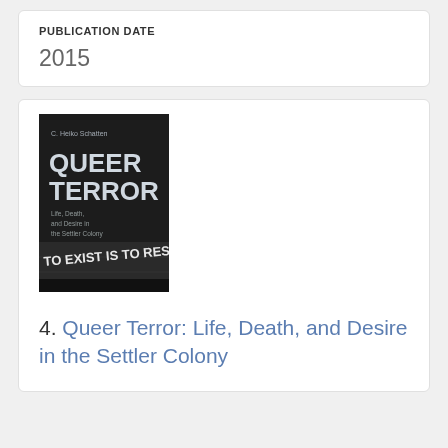PUBLICATION DATE
2015
[Figure (photo): Book cover of 'Queer Terror: Life, Death, and Desire in the Settler Colony' by C. Heiko Schatten. Dark cover with bold white text for title and graffiti reading 'TO EXIST IS TO RESIST' on a wall.]
4. Queer Terror: Life, Death, and Desire in the Settler Colony